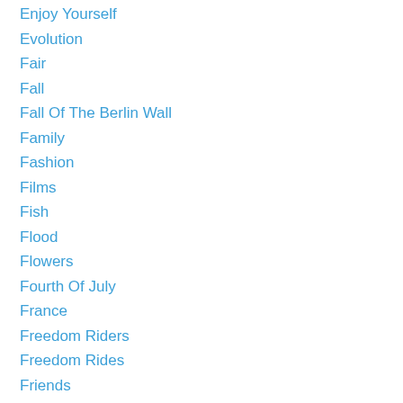Enjoy Yourself
Evolution
Fair
Fall
Fall Of The Berlin Wall
Family
Fashion
Films
Fish
Flood
Flowers
Fourth Of July
France
Freedom Riders
Freedom Rides
Friends
Fun
Future
Generations
Genetic Testing
George Rhodes